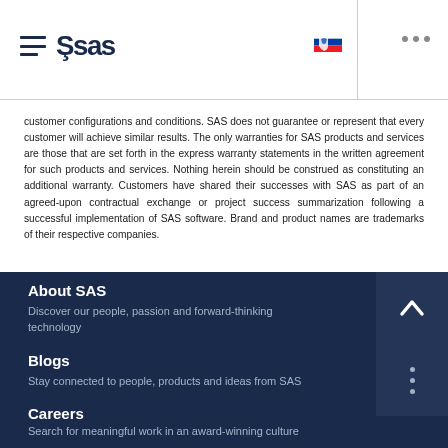SAS logo and navigation header with hamburger menu, SAS logo, Slovak flag, and ellipsis menu
customer configurations and conditions. SAS does not guarantee or represent that every customer will achieve similar results. The only warranties for SAS products and services are those that are set forth in the express warranty statements in the written agreement for such products and services. Nothing herein should be construed as constituting an additional warranty. Customers have shared their successes with SAS as part of an agreed-upon contractual exchange or project success summarization following a successful implementation of SAS software. Brand and product names are trademarks of their respective companies.
About SAS
Discover our people, passion and forward-thinking technology
Blogs
Stay connected to people, products and ideas from SAS
Careers
Search for meaningful work in an award-winning culture
Communities